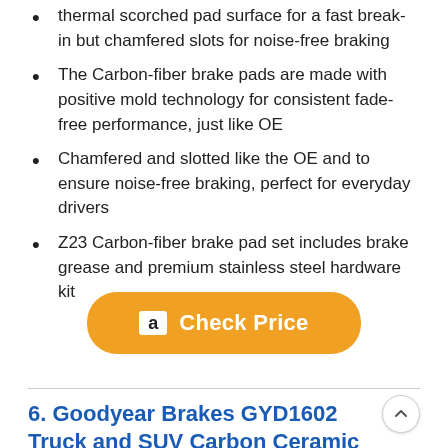thermal scorched pad surface for a fast break-in but chamfered slots for noise-free braking
The Carbon-fiber brake pads are made with positive mold technology for consistent fade-free performance, just like OE
Chamfered and slotted like the OE and to ensure noise-free braking, perfect for everyday drivers
Z23 Carbon-fiber brake pad set includes brake grease and premium stainless steel hardware kit
[Figure (other): Orange Amazon 'Check Price' button with Amazon logo icon]
6. Goodyear Brakes GYD1602 Truck and SUV Carbon Ceramic Rear Disc Brake Pads Set